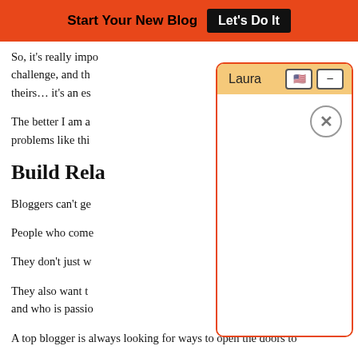Start Your New Blog  Let's Do It
So, it's really important that I know how to help them meet this challenge, and th... theirs… it's an es...
The better I am a... problems like thi...
Build Rela...
Bloggers can't ge...
People who come...
They don't just w...
They also want t... and who is passio...
A top blogger is always looking for ways to open the doors to
[Figure (screenshot): Chat popup widget with header 'Laura', flag and minus buttons, close (X) circle button, and empty white chat body area. Orange/red border with rounded corners.]
Powered By Steady Stream Leads